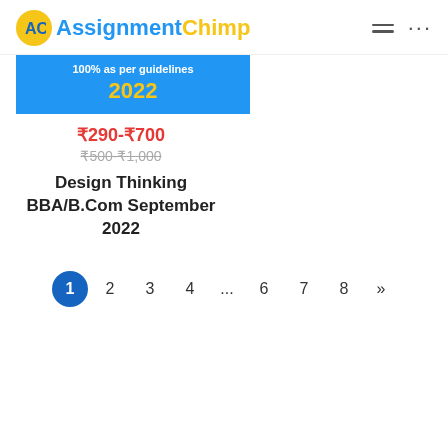[Figure (logo): AssignmentChimp logo with yellow circle icon and blue/yellow text]
100% as per guidelines 2022
₹290-₹700
₹500-₹1,000
Design Thinking BBA/B.Com September 2022
1 2 3 4 ... 6 7 8 »